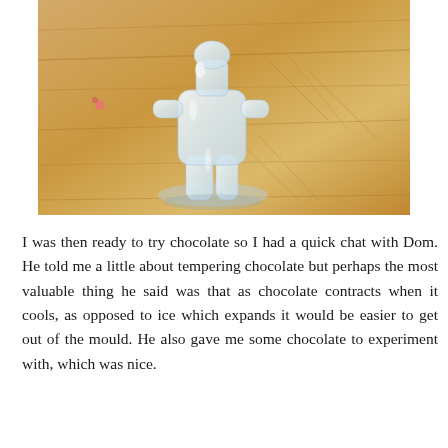[Figure (photo): A white translucent ice sculpture of a small figurine (resembling a person or character) sitting on a wooden cutting board. The ice figure appears slightly melted. The background shows the grain and scratch marks of a light-colored wooden surface.]
I was then ready to try chocolate so I had a quick chat with Dom. He told me a little about tempering chocolate but perhaps the most valuable thing he said was that as chocolate contracts when it cools, as opposed to ice which expands it would be easier to get out of the mould. He also gave me some chocolate to experiment with, which was nice.